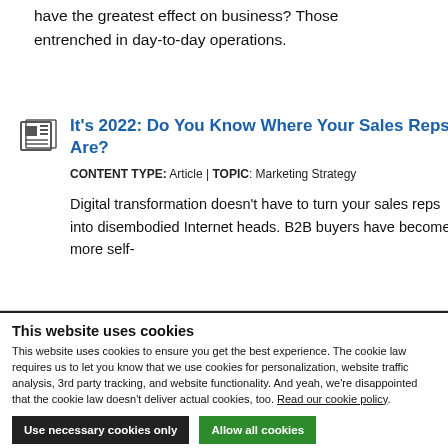have the greatest effect on business? Those entrenched in day-to-day operations.
It's 2022: Do You Know Where Your Sales Reps Are?
CONTENT TYPE: Article | TOPIC: Marketing Strategy
Digital transformation doesn't have to turn your sales reps into disembodied Internet heads. B2B buyers have become more self-
This website uses cookies
This website uses cookies to ensure you get the best experience. The cookie law requires us to let you know that we use cookies for personalization, website traffic analysis, 3rd party tracking, and website functionality. And yeah, we're disappointed that the cookie law doesn't deliver actual cookies, too. Read our cookie policy.
Use necessary cookies only
Allow all cookies
Show details